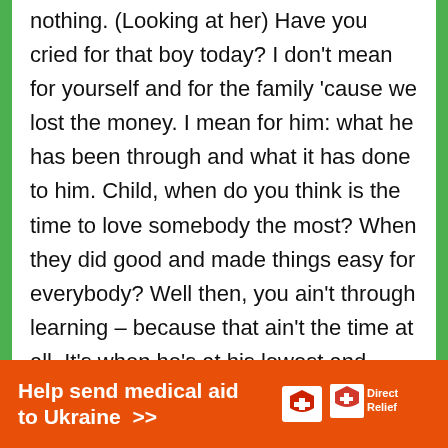nothing. (Looking at her) Have you cried for that boy today? I don't mean for yourself and for the family 'cause we lost the money. I mean for him: what he has been through and what it has done to him. Child, when do you think is the time to love somebody the most? When they did good and made things easy for everybody? Well then, you ain't through learning – because that ain't the time at all. It's when he's at his lowest and can't believe in hisself 'cause the world has whipped him so! when you start measuring somebody, measure him right, child, measure him right. Make sure you take into
[Figure (other): Advertisement banner: orange background with bold white text 'Help send medical aid to Ukraine >>' and Direct Relief logo (white box icon with red cross and white text 'DirectRelief')]